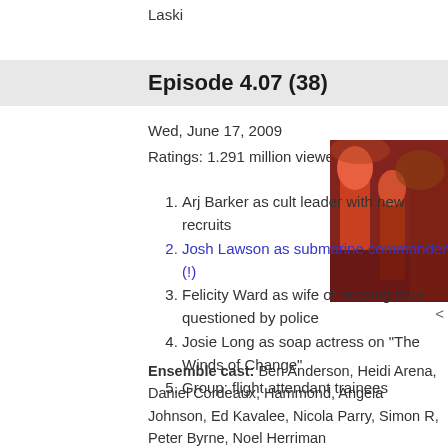Laski
Episode 4.07 (38)
Wed, June 17, 2009
Ratings: 1.291 million viewers (6th)
Arj Barker as cult leader with new recruits
Josh Lawson as submarine commander (!)
Felicity Ward as wife of missing man questioned by police
Josie Long as soap actress on "The Winds of Change"
Group: flight attendant trainees
[Figure (photo): Photo of scene with people in colorful/dramatic setting]
Ensemble cast: Ben Anderson, Heidi Arena, Daniel Cordeaux, Hammond, Angela Johnson, Ed Kavalee, Nicola Parry, Simon R, Peter Byrne, Noel Herriman